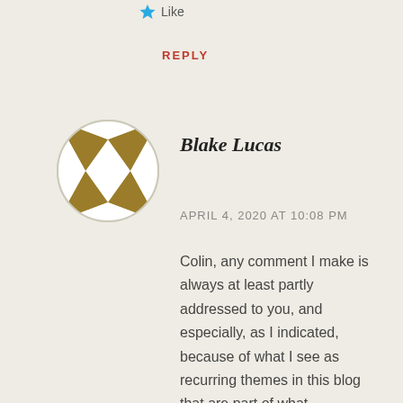[Figure (other): Star/like icon with 'Like' text]
REPLY
[Figure (illustration): Geometric diamond/quilt pattern avatar icon for user Blake Lucas]
Blake Lucas
APRIL 4, 2020 AT 10:08 PM
Colin, any comment I make is always at least partly addressed to you, and especially, as I indicated, because of what I see as recurring themes in this blog that are part of what distinguishes it.